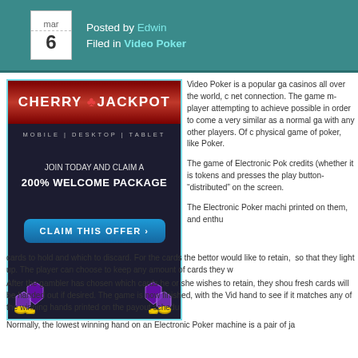Posted by Edwin | Filed in Video Poker | mar 6
[Figure (illustration): Cherry Jackpot casino advertisement banner. Red header with 'CHERRY JACKPOT' logo text. Subtitle: 'MOBILE | DESKTOP | TABLET'. Dark background with text 'JOIN TODAY AND CLAIM A 200% WELCOME PACKAGE'. Blue 'CLAIM THIS OFFER >' button. Gem decorations at bottom. Light blue border around ad.]
Video Poker is a popular ga... casinos all over the world, c... net connection. The game m... player attempting to achieve... possible in order to come a... very similar as a normal ga... with any other players. Of c... physical game of poker, like... Poker.
The game of Electronic Pok... credits (whether it is tokens... and presses the play button... "distributed" on the screen.
The Electronic Poker machi... printed on them, and enthu... cards to hold and which to discard. For the cards the bettor would like to retain, ... so that they light up. The player can choose to keep any amount of cards they w...
After the gambler has chosen which cards he or she wishes to retain, they shou... fresh cards will be handed out if desired. The game is now finished, with the Vid... hand to see if it matches any of the winning hands printed on the payout schedu...
Normally, the lowest winning hand on an Electronic Poker machine is a pair of ja...